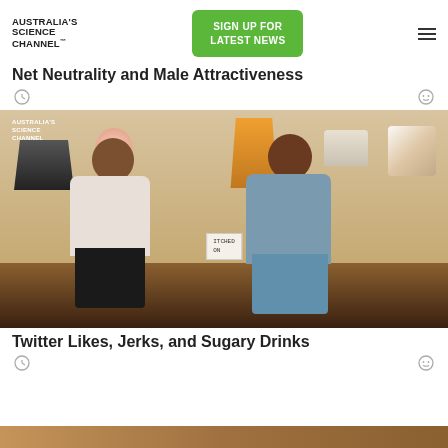AUSTRALIA'S SCIENCE CHANNEL™
SIGN UP FOR LATEST NEWS
Net Neutrality and Male Attractiveness
[Figure (photo): Two women sitting in director's chairs conversing in a warmly lit studio with various lamps in background; Australia's Science Channel logo overlay in top left]
Twitter Likes, Jerks, and Sugary Drinks